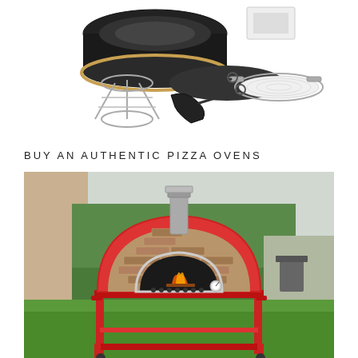[Figure (photo): Air fryer and cooking accessories set including a round air fryer unit, pizza/mesh screen, wire rack stand, tongs, and a dark circular mat, arranged on a white background]
BUY AN AUTHENTIC PIZZA OVENS
[Figure (photo): Outdoor wood-fired pizza oven with a red metal stand/cart on wheels, dome-shaped with brick/stone cladding, a stainless steel chimney on top, set on a green lawn with a garden and building in the background]